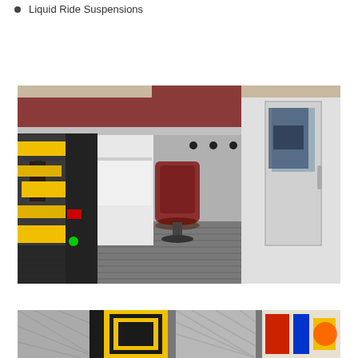Liquid Ride Suspensions
[Figure (photo): Interior of an ambulance module showing a brown leather attendant seat in the center, yellow and black Stryker-style stretcher on the left, white cabinetry with maroon accent panels on upper shelves, overhead storage cabinets, ribbed metal floor, and a view through to the cab area.]
[Figure (photo): Partial bottom strip showing ambulance exterior and equipment details — diamond-plate metal, yellow and black patterned equipment, and other colorful emergency vehicle components.]